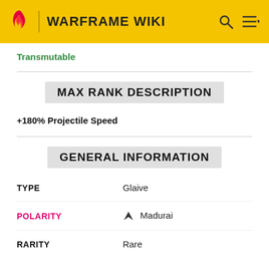WARFRAME WIKI
Transmutable
MAX RANK DESCRIPTION
+180% Projectile Speed
GENERAL INFORMATION
|  |  |
| --- | --- |
| TYPE | Glaive |
| POLARITY | Madurai |
| RARITY | Rare |